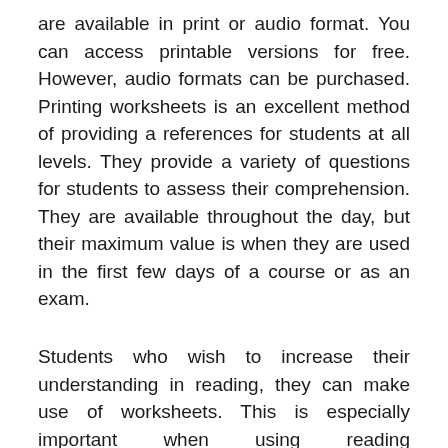are available in print or audio format. You can access printable versions for free. However, audio formats can be purchased. Printing worksheets is an excellent method of providing a references for students at all levels. They provide a variety of questions for students to assess their comprehension. They are available throughout the day, but their maximum value is when they are used in the first few days of a course or as an exam.
Students who wish to increase their understanding in reading, they can make use of worksheets. This is especially important when using reading comprehension worksheets for children. The primary goal is to assist children in overcoming the anxiety they experience when they have difficulty reading. The majority of students become less motivated